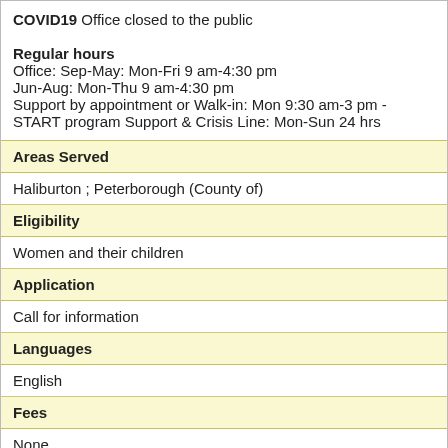COVID19 Office closed to the public

Regular hours
Office: Sep-May: Mon-Fri 9 am-4:30 pm
Jun-Aug: Mon-Thu 9 am-4:30 pm
Support by appointment or Walk-in: Mon 9:30 am-3 pm - START program Support & Crisis Line: Mon-Sun 24 hrs
Areas Served
Haliburton ; Peterborough (County of)
Eligibility
Women and their children
Application
Call for information
Languages
English
Fees
None
Address and Location
Site Location